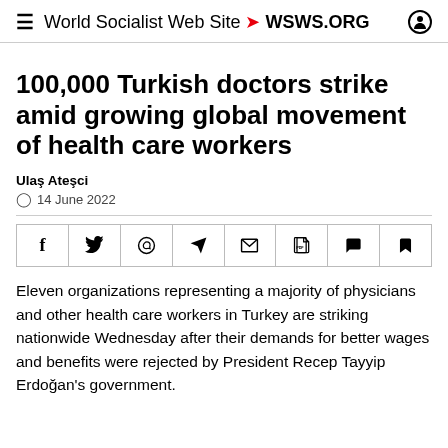World Socialist Web Site • WSWS.ORG
100,000 Turkish doctors strike amid growing global movement of health care workers
Ulaş Ateşci
14 June 2022
[Figure (other): Social share bar with icons: Facebook, Twitter, WhatsApp, Telegram, Email, PDF, Comments, Bookmark]
Eleven organizations representing a majority of physicians and other health care workers in Turkey are striking nationwide Wednesday after their demands for better wages and benefits were rejected by President Recep Tayyip Erdoğan's government.